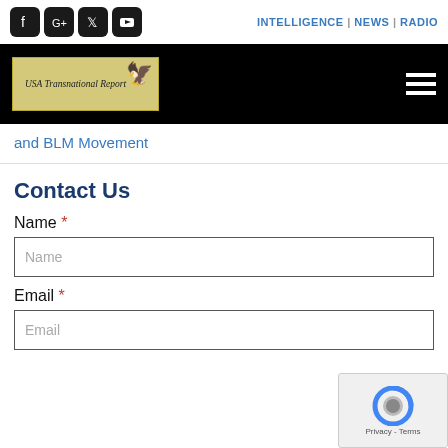INTELLIGENCE | NEWS | RADIO
[Figure (logo): USA Transnational Report logo with eagle, on gold/tan background, inside black banner with hamburger menu icon]
and BLM Movement
Contact Us
Name *
Email *